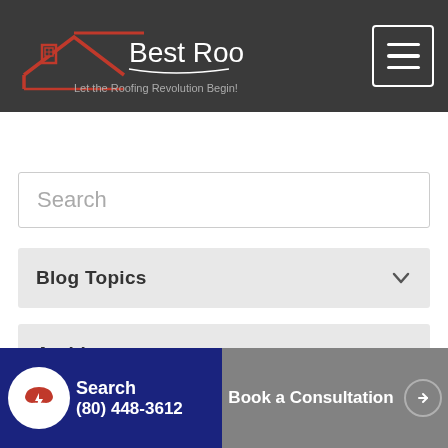[Figure (logo): Best Roofing Now logo with house roof graphic and tagline 'Let the Roofing Revolution Begin!']
[Figure (other): Hamburger menu button (three horizontal lines) in white border square]
Search
Blog Topics
Archives
Search
(80) 448-3612
Book a Consultation